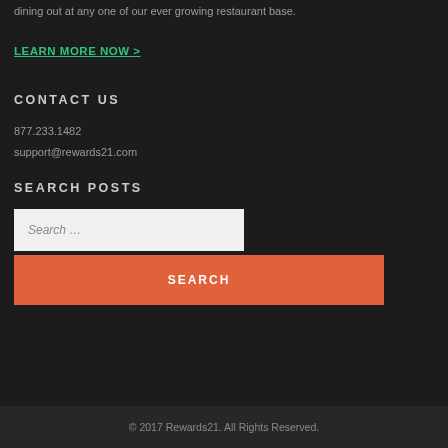dining out at any one of our ever growing restaurant base.
LEARN MORE NOW >
CONTACT US
877.233.1482
support@rewards21.com
SEARCH POSTS
Search …
SEARCH
© 2017 Rewards21. All Rights Reserved.